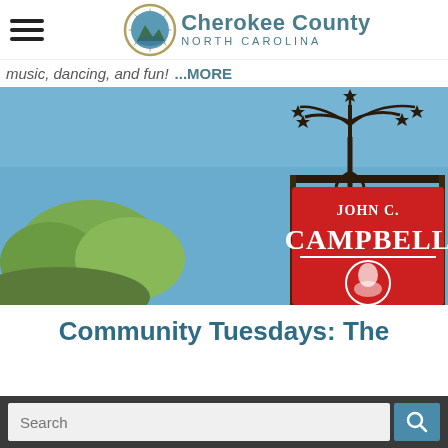Cherokee County North Carolina
music, dancing, and fun! ...MORE
[Figure (photo): Photo of John C. Campbell Folk School sign — a red sign with white lettering reading 'John C. Campbell' with decorative wrought iron metalwork on top, against a blue sky with trees in background.]
Community Tuesdays: The